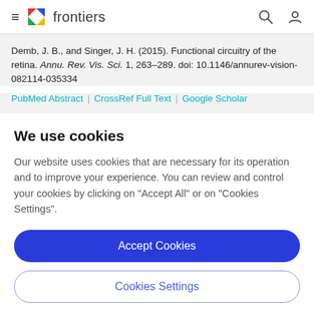frontiers
Demb, J. B., and Singer, J. H. (2015). Functional circuitry of the retina. Annu. Rev. Vis. Sci. 1, 263–289. doi: 10.1146/annurev-vision-082114-035334
PubMed Abstract | CrossRef Full Text | Google Scholar
We use cookies
Our website uses cookies that are necessary for its operation and to improve your experience. You can review and control your cookies by clicking on "Accept All" or on "Cookies Settings".
Accept Cookies
Cookies Settings